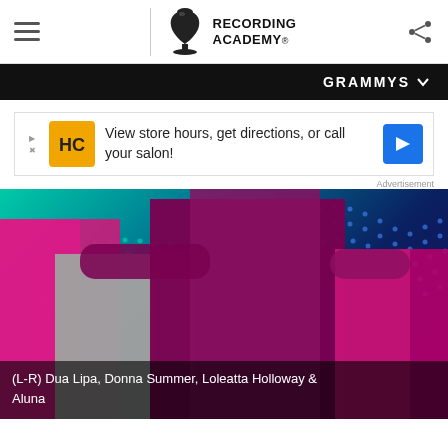RECORDING ACADEMY
GRAMMYS
[Figure (screenshot): Advertisement banner: HC logo with text 'View store hours, get directions, or call your salon!']
Advertisement
[Figure (photo): Composite photo showing (L-R) Dua Lipa, Donna Summer, Loleatta Holloway & Aluna on a teal/blue dotted background]
(L-R) Dua Lipa, Donna Summer, Loleatta Holloway & Aluna